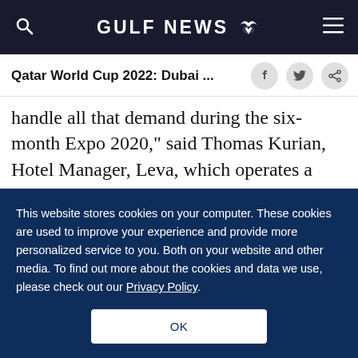GULF NEWS
Qatar World Cup 2022: Dubai ...
handle all that demand during the six-month Expo 2020,” said Thomas Kurian, Hotel Manager, Leva, which operates a hotel near Downtown Dubai. “This (a lean workforce) was becoming the norm for hotels even before Covid, but pandemic was the reason we got into that sphere, and it has worked well for us.”
This website stores cookies on your computer. These cookies are used to improve your experience and provide more personalized service to you. Both on your website and other media. To find out more about the cookies and data we use, please check out our Privacy Policy.
OK